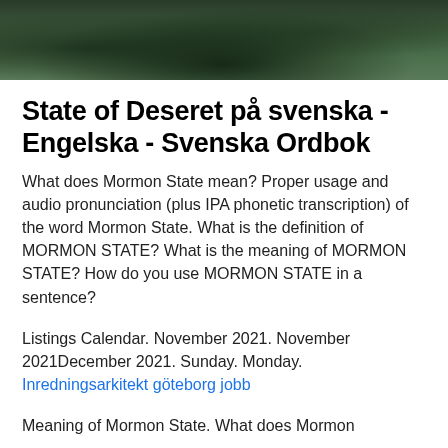[Figure (photo): Dark forest/nature photo banner at top of page]
State of Deseret på svenska - Engelska - Svenska Ordbok
What does Mormon State mean? Proper usage and audio pronunciation (plus IPA phonetic transcription) of the word Mormon State. What is the definition of MORMON STATE? What is the meaning of MORMON STATE? How do you use MORMON STATE in a sentence?
Listings Calendar. November 2021. November 2021December 2021. Sunday. Monday.
Inredningsarkitekt göteborg jobb
Meaning of Mormon State. What does Mormon